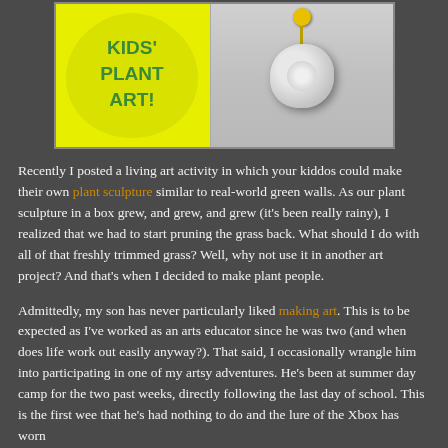[Figure (photo): Composite image: left side shows a yellow leaf shape with green text reading KIDS' PLANT ART!, right side shows a clay or metal pendant/sculpture hanging from a yellow pin on a gray background.]
Recently I posted a living art activity in which your kiddos could make their own plant sculpture similar to real-world green walls. As our plant sculpture in a box grew, and grew, and grew (it's been really rainy), I realized that we had to start pruning the grass back. What should I do with all of that freshly trimmed grass? Well, why not use it in another art project? And that's when I decided to make plant people.
Admittedly, my son has never particularly liked making art. This is to be expected as I've worked as an arts educator since he was two (and when does life work out easily anyway?). That said, I occasionally wrangle him into participating in one of my artsy adventures. He's been at summer day camp for the two past weeks, directly following the last day of school. This is the first wee that he's had nothing to do and the lure of the Xbox has worn